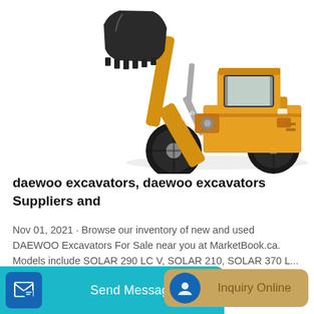[Figure (photo): Yellow XCMG wheel loader construction machine with large front bucket raised, on white background]
daewoo excavators, daewoo excavators Suppliers and
Nov 01, 2021 · Browse our inventory of new and used DAEWOO Excavators For Sale near you at MarketBook.ca. Models include SOLAR 290 LC V, SOLAR 210, SOLAR 370 L...